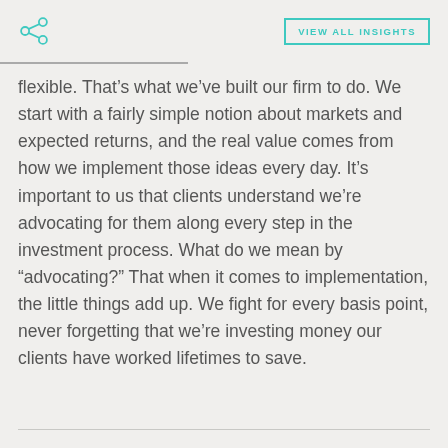VIEW ALL INSIGHTS
flexible. That's what we've built our firm to do. We start with a fairly simple notion about markets and expected returns, and the real value comes from how we implement those ideas every day. It's important to us that clients understand we're advocating for them along every step in the investment process. What do we mean by “advocating?” That when it comes to implementation, the little things add up. We fight for every basis point, never forgetting that we’re investing money our clients have worked lifetimes to save.